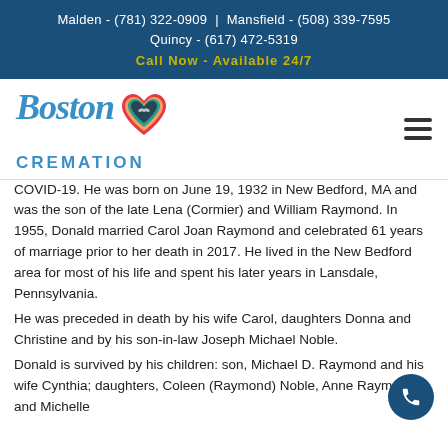Malden - (781) 322-0909 | Mansfield - (508) 339-7595 Quincy - (617) 472-5319
Call Now - Available 24/7
[Figure (logo): Boston Cremation logo with colorful heart and italic Boston text above CREMATION in blue letters]
COVID-19. He was born on June 19, 1932 in New Bedford, MA and was the son of the late Lena (Cormier) and William Raymond. In 1955, Donald married Carol Joan Raymond and celebrated 61 years of marriage prior to her death in 2017. He lived in the New Bedford area for most of his life and spent his later years in Lansdale, Pennsylvania.
He was preceded in death by his wife Carol, daughters Donna and Christine and by his son-in-law Joseph Michael Noble.
Donald is survived by his children: son, Michael D. Raymond and his wife Cynthia; daughters, Coleen (Raymond) Noble, Anne Raymond, and Michelle